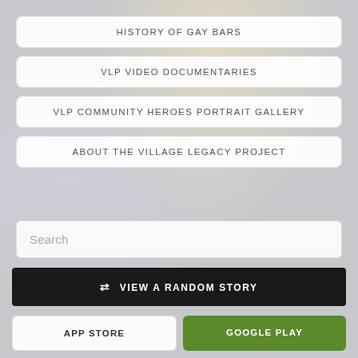HISTORY OF GAY BARS
VLP VIDEO DOCUMENTARIES
VLP COMMUNITY HEROES PORTRAIT GALLERY
ABOUT THE VILLAGE LEGACY PROJECT
Search
VIEW A RANDOM STORY
APP STORE
GOOGLE PLAY
[Figure (other): Social media icons: email/envelope, Facebook f, Twitter bird]